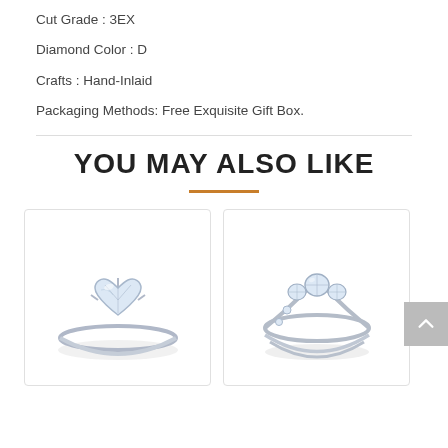Cut Grade : 3EX
Diamond Color : D
Crafts : Hand-Inlaid
Packaging Methods: Free Exquisite Gift Box.
YOU MAY ALSO LIKE
[Figure (photo): Heart-shaped diamond solitaire ring in silver setting]
[Figure (photo): Three-stone diamond ring with double band silver setting]